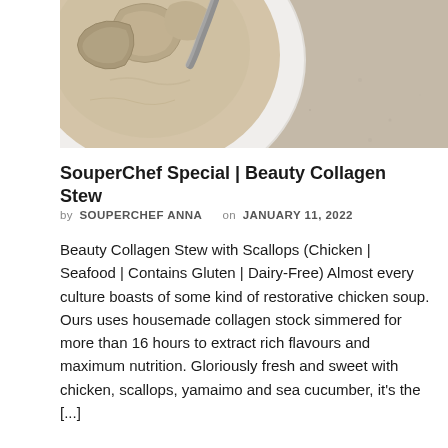[Figure (photo): Close-up of a bowl of soup with mushrooms and scallops on a beige stone surface, viewed from above at an angle]
SouperChef Special | Beauty Collagen Stew
by SOUPERCHEF ANNA on JANUARY 11, 2022
Beauty Collagen Stew with Scallops (Chicken | Seafood | Contains Gluten | Dairy-Free) Almost every culture boasts of some kind of restorative chicken soup. Ours uses housemade collagen stock simmered for more than 16 hours to extract rich flavours and maximum nutrition. Gloriously fresh and sweet with chicken, scallops, yamaimo and sea cucumber, it's the [...]